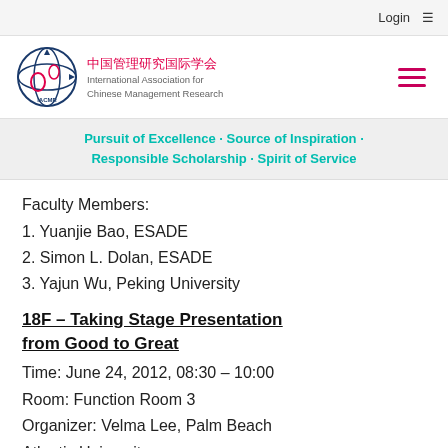Login
[Figure (logo): IACMR logo — circular emblem with globe and arrows, with Chinese text 中国管理研究国际学会 and English text International Association for Chinese Management Research]
Pursuit of Excellence · Source of Inspiration · Responsible Scholarship · Spirit of Service
Faculty Members:
1. Yuanjie Bao, ESADE
2. Simon L. Dolan, ESADE
3. Yajun Wu, Peking University
18F – Taking Stage Presentation from Good to Great
Time: June 24, 2012, 08:30 – 10:00
Room: Function Room 3
Organizer: Velma Lee, Palm Beach Atlantic University